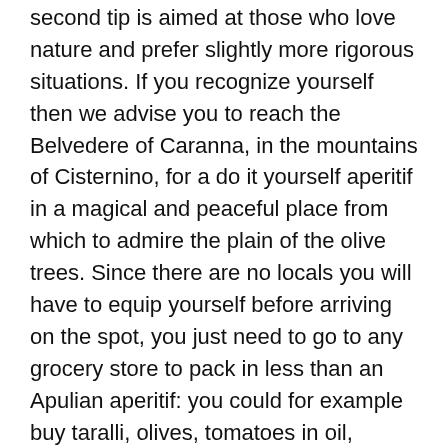second tip is aimed at those who love nature and prefer slightly more rigorous situations. If you recognize yourself then we advise you to reach the Belvedere of Caranna, in the mountains of Cisternino, for a do it yourself aperitif in a magical and peaceful place from which to admire the plain of the olive trees. Since there are no locals you will have to equip yourself before arriving on the spot, you just need to go to any grocery store to pack in less than an Apulian aperitif: you could for example buy taralli, olives, tomatoes in oil, focaccia, capocollo (cured meat), and of course a good bottle of local wine!
# 2 Dancing on the beach